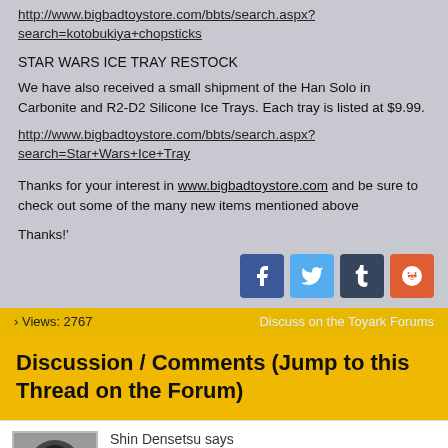http://www.bigbadtoystore.com/bbts/search.aspx?search=kotobukiya+chopsticks
STAR WARS ICE TRAY RESTOCK
We have also received a small shipment of the Han Solo in Carbonite and R2-D2 Silicone Ice Trays. Each tray is listed at $9.99.
http://www.bigbadtoystore.com/bbts/search.aspx?search=Star+Wars+Ice+Tray
Thanks for your interest in www.bigbadtoystore.com and be sure to check out some of the many new items mentioned above
Thanks!'
[Figure (other): Social share buttons: Facebook, Twitter, Tumblr, Reddit]
› Views: 2767   Discuss on the Toyark Forums
Discussion / Comments (Jump to this Thread on the Forum)
Shin Densetsu says
12-14-2011, 03:00 PM